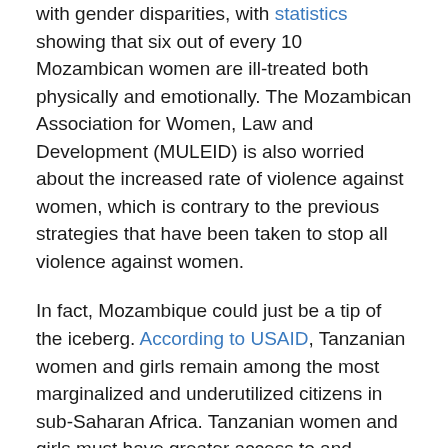with gender disparities, with statistics showing that six out of every 10 Mozambican women are ill-treated both physically and emotionally. The Mozambican Association for Women, Law and Development (MULEID) is also worried about the increased rate of violence against women, which is contrary to the previous strategies that have been taken to stop all violence against women.
In fact, Mozambique could just be a tip of the iceberg. According to USAID, Tanzanian women and girls remain among the most marginalized and underutilized citizens in sub-Saharan Africa. Tanzanian women and girls must have greater access to and control over resources, opportunities, and decision-making power in order to sustainably reduce extreme poverty, build healthy communities, and promote inclusive growth, says USAID.
Tanzania is one of two initial priority countries under Let Girls Learn, a whole-of-government initiative to improve enrolment and retention in educational programs for female adolescents. While primary school enrolment